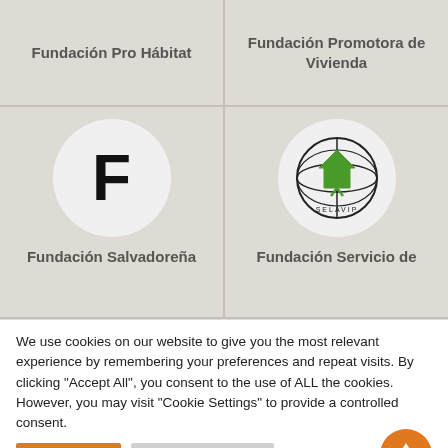[Figure (other): Card grid top-left: Fundación Pro Hábitat text card with gray background]
Fundación Pro Hábitat
[Figure (other): Card grid top-right: Fundación Promotora de Vivienda text card with gray background]
Fundación Promotora de Vivienda
[Figure (logo): Card grid bottom-left: circle with letter F, label Fundación Salvadoreña]
Fundación Salvadoreña
[Figure (logo): Card grid bottom-right: SELAVIP logo circle with house/globe icon, label Fundación Servicio de]
Fundación Servicio de
We use cookies on our website to give you the most relevant experience by remembering your preferences and repeat visits. By clicking "Accept All", you consent to the use of ALL the cookies. However, you may visit "Cookie Settings" to provide a controlled consent.